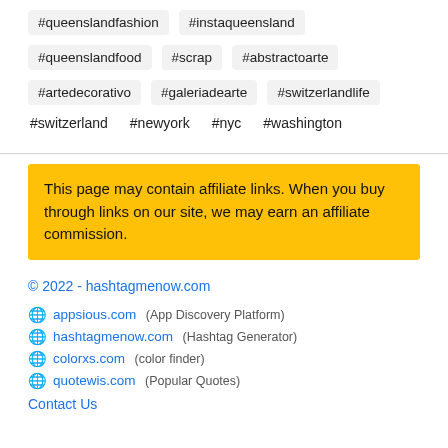#queenslandfashion
#instaqueensland
#queenslandfood
#scrap
#abstractoarte
#artedecorativo
#galeriadearte
#switzerlandlife
#switzerland
#newyork
#nyc
#washington
This page may contain affiliate links. When you buy through links on our site, we may earn an affiliate commission.
© 2022 - hashtagmenow.com
appsious.com (App Discovery Platform)
hashtagmenow.com (Hashtag Generator)
colorxs.com (color finder)
quotewis.com (Popular Quotes)
Contact Us